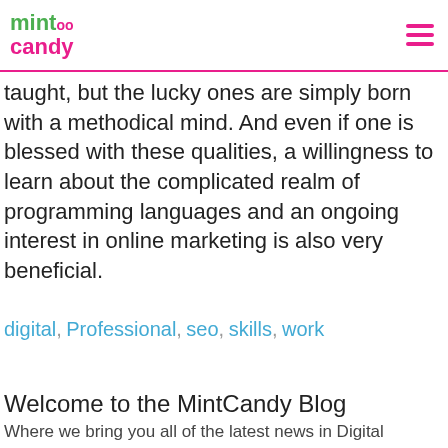MintCandy
taught, but the lucky ones are simply born with a methodical mind. And even if one is blessed with these qualities, a willingness to learn about the complicated realm of programming languages and an ongoing interest in online marketing is also very beneficial.
digital, Professional, seo, skills, work
Welcome to the MintCandy Blog
Where we bring you all of the latest news in Digital Marketing, Online Public Relations and Brand Creative.